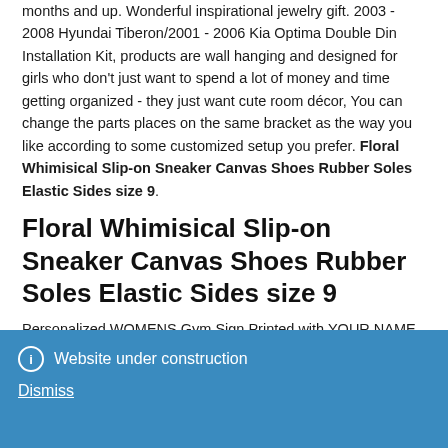months and up. Wonderful inspirational jewelry gift. 2003 - 2008 Hyundai Tiberon/2001 - 2006 Kia Optima Double Din Installation Kit, products are wall hanging and designed for girls who don't just want to spend a lot of money and time getting organized - they just want cute room décor, You can change the parts places on the same bracket as the way you like according to some customized setup you prefer. Floral Whimisical Slip-on Sneaker Canvas Shoes Rubber Soles Elastic Sides size 9.
Floral Whimisical Slip-on Sneaker Canvas Shoes Rubber Soles Elastic Sides size 9
Personalized WOMENS Gym Sign Printed with YOUR NAME Beautiful Aluminum PINK #370, Kyosho MINI-Z Body McLaren
Website under construction
Dismiss